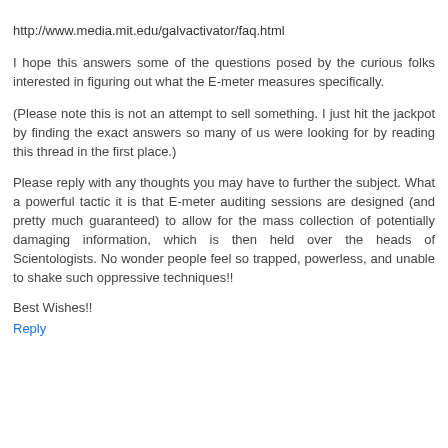http://www.media.mit.edu/galvactivator/faq.html
I hope this answers some of the questions posed by the curious folks interested in figuring out what the E-meter measures specifically.
(Please note this is not an attempt to sell something. I just hit the jackpot by finding the exact answers so many of us were looking for by reading this thread in the first place.)
Please reply with any thoughts you may have to further the subject. What a powerful tactic it is that E-meter auditing sessions are designed (and pretty much guaranteed) to allow for the mass collection of potentially damaging information, which is then held over the heads of Scientologists. No wonder people feel so trapped, powerless, and unable to shake such oppressive techniques!!
Best Wishes!!
Reply